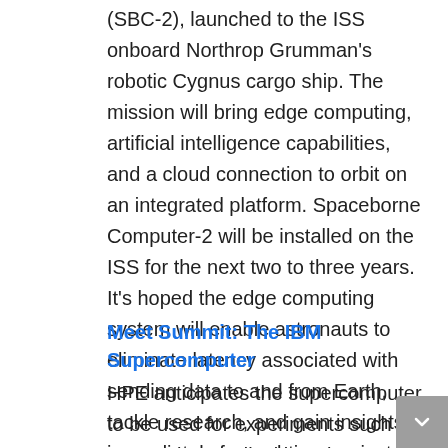(SBC-2), launched to the ISS onboard Northrop Grumman's robotic Cygnus cargo ship. The mission will bring edge computing, artificial intelligence capabilities, and a cloud connection to orbit on an integrated platform. Spaceborne Computer-2 will be installed on the ISS for the next two to three years. It's hoped the edge computing system will enable astronauts to eliminate latency associated with sending data to and from Earth, tackle research, and gain insights immediately for real-time projects.
Meet Summit: The IBM Supercomputer
HPE anticipates the supercomputer to be used for experiments such as processing medical imaging